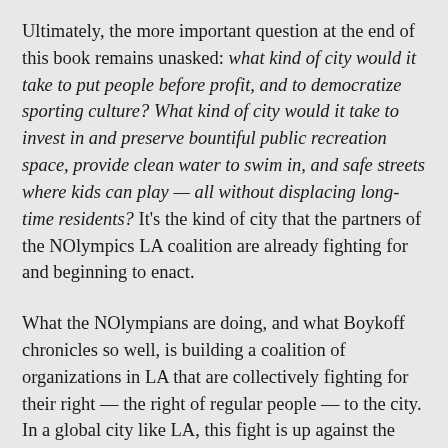Ultimately, the more important question at the end of this book remains unasked: what kind of city would it take to put people before profit, and to democratize sporting culture? What kind of city would it take to invest in and preserve bountiful public recreation space, provide clean water to swim in, and safe streets where kids can play — all without displacing long-time residents? It's the kind of city that the partners of the NOlympics LA coalition are already fighting for and beginning to enact.
What the NOlympians are doing, and what Boykoff chronicles so well, is building a coalition of organizations in LA that are collectively fighting for their right — the right of regular people — to the city. In a global city like LA, this fight is up against the influence of transnational real estate investment, the tourism industry, and